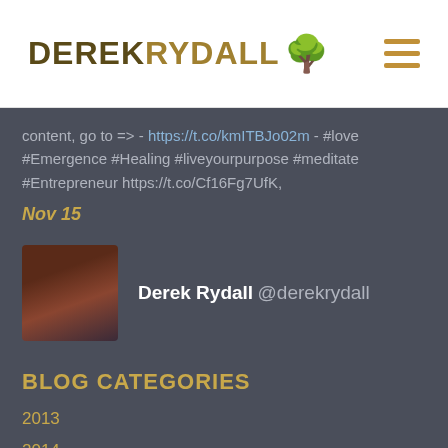DEREK RYDALL
content, go to => - https://t.co/kmITBJo02m - #love #Emergence #Healing #liveyourpurpose #meditate #Entrepreneur https://t.co/Cf16Fg7UfK,
Nov 15
Derek Rydall @derekrydall
BLOG CATEGORIES
2013
2014